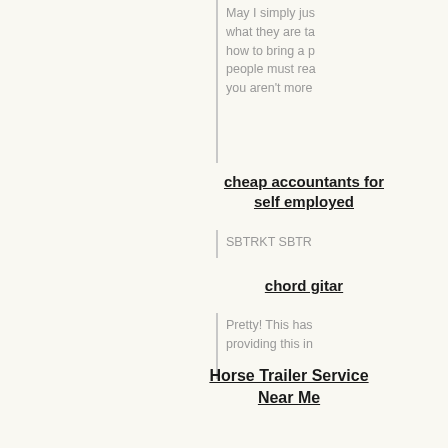May I simply just what they are ta how to bring a p people must rea you aren't more
cheap accountants for self employed
SBTRKT SBTR
chord gitar
Pretty! This has providing this in
Horse Trailer Service Near Me
This is a great ti very precise info post!
Brand Advertising
You're so cool! I to discover som you for starting t web, someone v
Online assignment